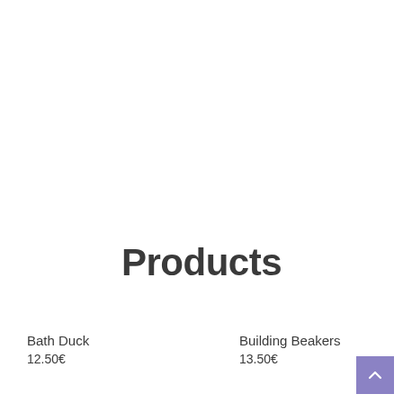Products
Bath Duck
12.50€
Building Beakers
13.50€